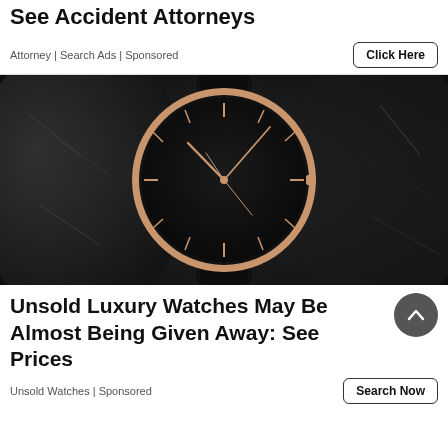See Accident Attorneys
Attorney | Search Ads | Sponsored
Click Here
[Figure (photo): A luxury black minimalist watch with rose gold case and hands on a dark stone background, with a black leather strap.]
Unsold Luxury Watches May Be Almost Being Given Away: See Prices
Unsold Watches | Sponsored
Search Now